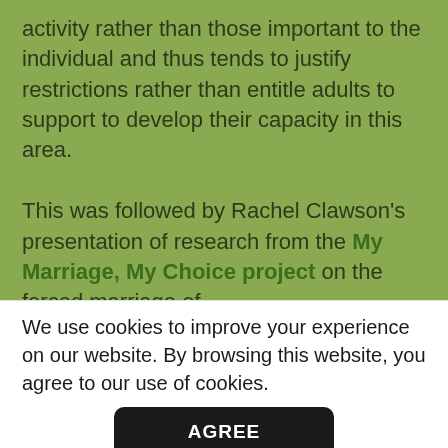activity rather than those important to the individual and thus tends to justify restrictions rather than entitle adults to support to develop their capacity in this area.
This was followed by Rachel Clawson's presentation of research from the My Marriage, My Choice project on the forced marriage of
We use cookies to improve your experience on our website. By browsing this website, you agree to our use of cookies.
AGREE